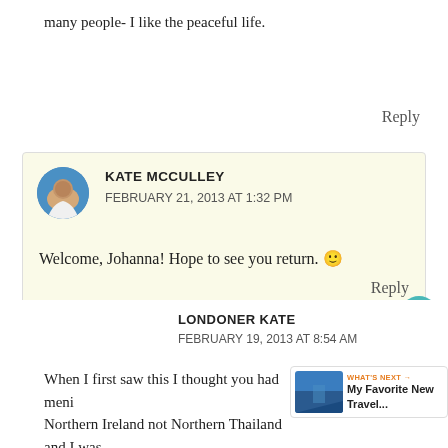many people- I like the peaceful life.
Reply
KATE MCCULLEY
FEBRUARY 21, 2013 AT 1:32 PM

Welcome, Johanna! Hope to see you return. 🙂
Reply
LONDONER KATE
FEBRUARY 19, 2013 AT 8:54 AM

When I first saw this I thought you had mentioned Northern Ireland not Northern Thailand and I was